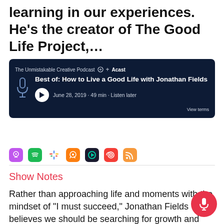learning in our experiences. He's the creator of The Good Life Project,...
[Figure (screenshot): Podcast player card with dark navy background showing 'The Unmistakable Creative Podcast' and episode 'Best of: How to Live a Good Life with Jonathan Fields', June 28, 2019, 49 min, Listen later, powered by Acast]
[Figure (infographic): Row of podcast platform icons: Apple Podcasts, Spotify, Google Podcasts, Overcast, Castro, Pocket Casts, RSS]
Show Notes
Rather than approaching life and moments with the mindset of “I must succeed,” Jonathan Fields believes we should be searching for growth and learning in our experiences. He’s the creator of The Good Life